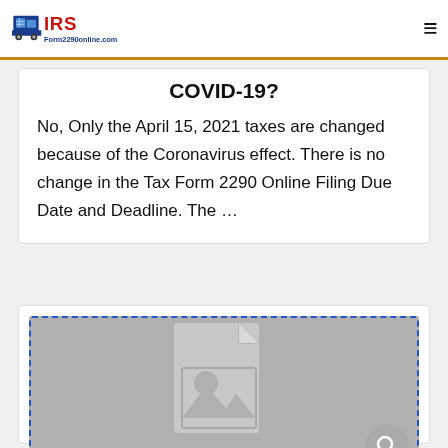IRS Form2290online.com
COVID-19?
No, Only the April 15, 2021 taxes are changed because of the Coronavirus effect. There is no change in the Tax Form 2290 Online Filing Due Date and Deadline. The …
[Figure (photo): Image placeholder with a document/photo icon on a gray background, with a circular chat/search icon at the bottom right]